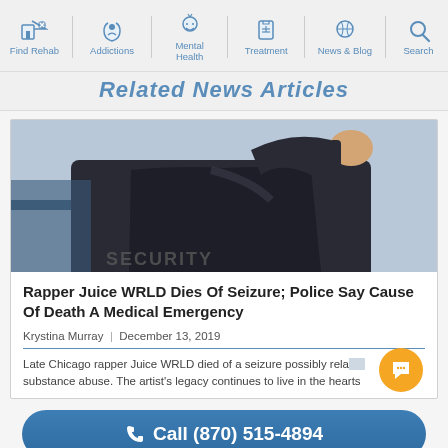Find Rehab | Addictions | Mental Health | Treatment | News & Blog | Search
Related News Articles
[Figure (photo): Person from behind wearing a dark security jacket, hand raised near face]
Rapper Juice WRLD Dies Of Seizure; Police Say Cause Of Death A Medical Emergency
Krystina Murray  |  December 13, 2019
Late Chicago rapper Juice WRLD died of a seizure possibly related to substance abuse. The artist's legacy continues to live in the hearts
Call (870) 515-4894
Confidentially speak with a treatment provider